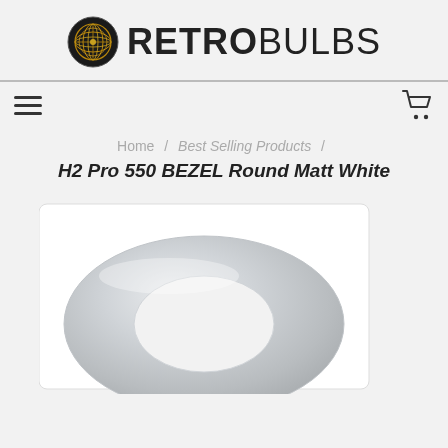[Figure (logo): RetroBulbs logo: a circular golden lattice/globe icon followed by bold text RETROBULBS]
Home / Best Selling Products /
H2 Pro 550 BEZEL Round Matt White
[Figure (photo): A round matt white bezel/trim ring product photo, showing a circular white bezel with a central circular cutout, shot on white background.]